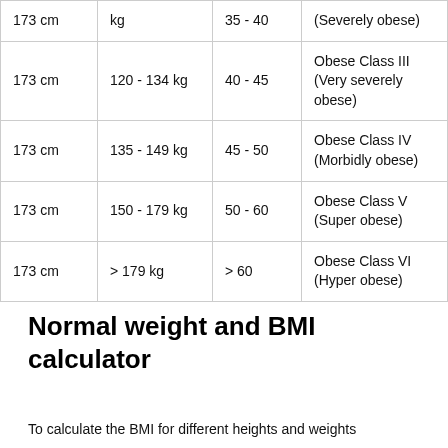| Height | Weight | BMI | Classification |
| --- | --- | --- | --- |
| 173 cm | kg | 35 - 40 | (Severely obese) |
| 173 cm | 120 - 134 kg | 40 - 45 | Obese Class III (Very severely obese) |
| 173 cm | 135 - 149 kg | 45 - 50 | Obese Class IV (Morbidly obese) |
| 173 cm | 150 - 179 kg | 50 - 60 | Obese Class V (Super obese) |
| 173 cm | > 179 kg | > 60 | Obese Class VI (Hyper obese) |
Normal weight and BMI calculator
To calculate the BMI for different heights and weights